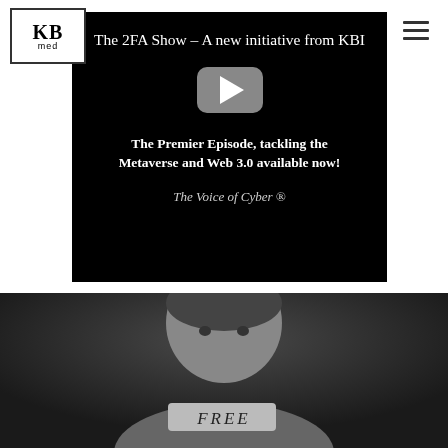[Figure (logo): KBI media logo — black bordered box with 'KB' large serif text and 'med' below]
[Figure (screenshot): YouTube-style video embed on black background. Title: 'The 2FA Show – A new initiative from KBI'. YouTube play button icon. Text: 'The Premier Episode, tackling the Metaverse and Web 3.0 available now!' Tagline: 'The Voice of Cyber ®']
[Figure (photo): Black and white photo of a person holding something with text 'FREE' visible at the bottom, cropped at the bottom of the page]